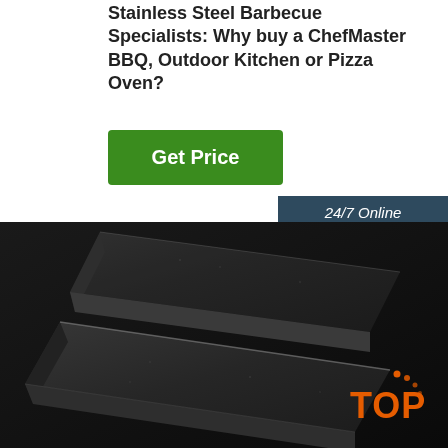Stainless Steel Barbecue Specialists: Why buy a ChefMaster BBQ, Outdoor Kitchen or Pizza Oven?
[Figure (other): Green 'Get Price' button]
[Figure (other): Customer service widget with '24/7 Online' header, photo of woman with headset smiling, 'Click here for free chat!' text, and orange 'QUOTATION' button]
[Figure (photo): Two dark stone/granite flat slabs stacked at an angle on a dark background]
[Figure (other): Orange 'TOP' badge with decorative dots in the bottom right corner]